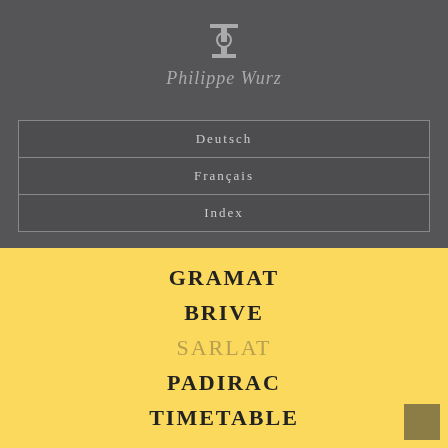[Figure (logo): Philippe Wurz brand logo with stylized icon and italic script text]
Deutsch
Français
Index
GRAMAT
BRIVE
SARLAT
PADIRAC
TIMETABLE